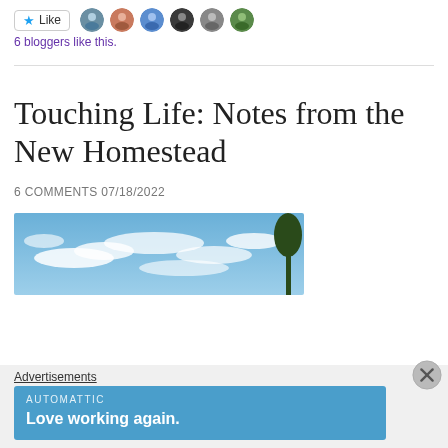[Figure (other): Like button with star icon and 6 avatar thumbnails of bloggers]
6 bloggers like this.
Touching Life: Notes from the New Homestead
6 COMMENTS 07/18/2022
[Figure (photo): Blue sky with white clouds and a tree silhouette on the right edge]
Advertisements
[Figure (other): AUTOMATTIC advertisement banner with text: Love working again.]